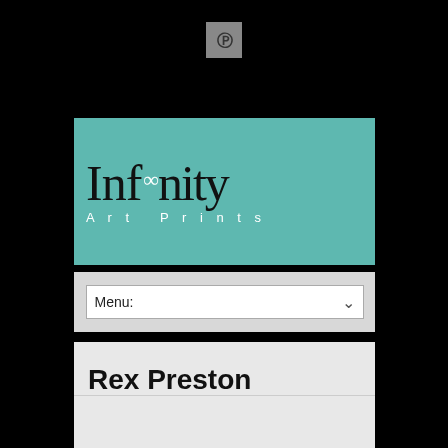[Figure (logo): Pinterest 'P' icon button, small square with grey background]
[Figure (logo): Infinity Art Prints logo on teal/turquoise background. Large serif 'Infinity' text with infinity symbol above the double-t, subtitle 'Art Prints' in spaced white sans-serif capitals]
Menu:
Rex Preston
[Figure (photo): Partial view of a dark impressionistic painting showing greens and browns, likely a landscape or foliage scene by Rex Preston]